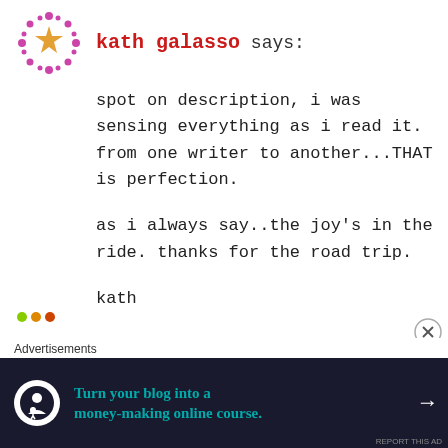kath galasso says:
spot on description, i was sensing everything as i read it. from one writer to another...THAT is perfection.

as i always say..the joy's in the ride. thanks for the road trip.

kath
Reply →
Advertisements
Turn your blog into a money-making online course. →